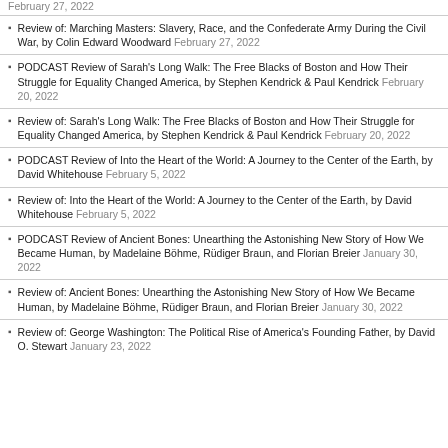February 27, 2022
Review of: Marching Masters: Slavery, Race, and the Confederate Army During the Civil War, by Colin Edward Woodward February 27, 2022
PODCAST Review of Sarah's Long Walk: The Free Blacks of Boston and How Their Struggle for Equality Changed America, by Stephen Kendrick & Paul Kendrick February 20, 2022
Review of: Sarah's Long Walk: The Free Blacks of Boston and How Their Struggle for Equality Changed America, by Stephen Kendrick & Paul Kendrick February 20, 2022
PODCAST Review of Into the Heart of the World: A Journey to the Center of the Earth, by David Whitehouse February 5, 2022
Review of: Into the Heart of the World: A Journey to the Center of the Earth, by David Whitehouse February 5, 2022
PODCAST Review of Ancient Bones: Unearthing the Astonishing New Story of How We Became Human, by Madelaine Böhme, Rüdiger Braun, and Florian Breier January 30, 2022
Review of: Ancient Bones: Unearthing the Astonishing New Story of How We Became Human, by Madelaine Böhme, Rüdiger Braun, and Florian Breier January 30, 2022
Review of: George Washington: The Political Rise of America's Founding Father, by David O. Stewart January 23, 2022